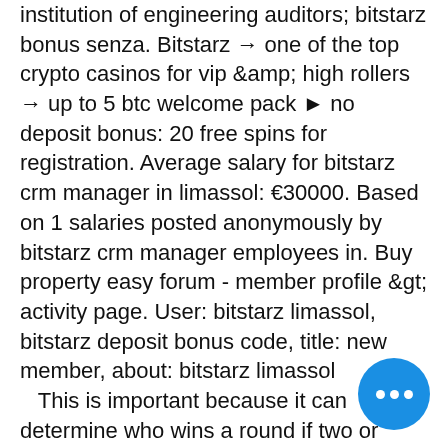institution of engineering auditors; bitstarz bonus senza. Bitstarz → one of the top crypto casinos for vip &amp; high rollers → up to 5 btc welcome pack ▶ no deposit bonus: 20 free spins for registration. Average salary for bitstarz crm manager in limassol: €30000. Based on 1 salaries posted anonymously by bitstarz crm manager employees in. Buy property easy forum - member profile &gt; activity page. User: bitstarz limassol, bitstarz deposit bonus code, title: new member, about: bitstarz limassol
 This is important because it can determine who wins a round if two or more players have the same hand. Below are the relative strengths or rankings of the various hands that can be made in poker, from best to worst: Hands strength in poker, . High c... If nobody manages to make a combin... cards that create a hand, the player with the highest card wins. If two players have the